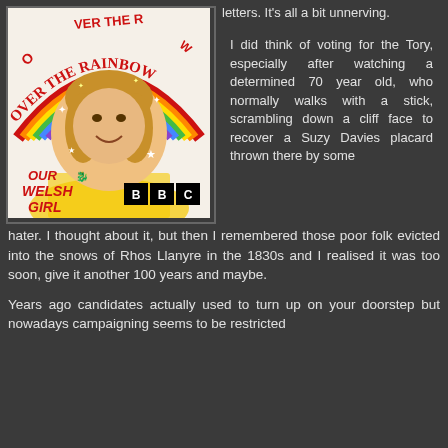[Figure (illustration): BBC Over the Rainbow show promotional image showing a woman's face in a circular frame with rainbow above, stars, yellow brick road, and text 'OUR WELSH GIRL' in red italic with BBC logo]
letters. It's all a bit unnerving.

I did think of voting for the Tory, especially after watching a determined 70 year old, who normally walks with a stick, scrambling down a cliff face to recover a Suzy Davies placard thrown there by some hater. I thought about it, but then I remembered those poor folk evicted into the snows of Rhos Llanyre in the 1830s and I realised it was too soon, give it another 100 years and maybe.

Years ago candidates actually used to turn up on your doorstep but nowadays campaigning seems to be restricted to the telly. There's always something it seems and it seems
hater. I thought about it, but then I remembered those poor folk evicted into the snows of Rhos Llanyre in the 1830s and I realised it was too soon, give it another 100 years and maybe.
Years ago candidates actually used to turn up on your doorstep but nowadays campaigning seems to be restricted